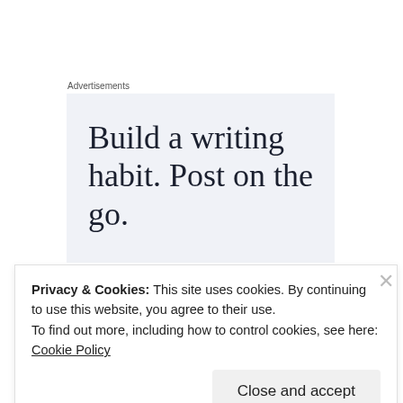Advertisements
[Figure (illustration): Advertisement banner with light blue-grey background showing large serif text: 'Build a writing habit. Post on the go.' — text is partially cropped at bottom]
Do I feel happier? Honestly, I think I do. It's
empowering knowing that now I'm choosing when
Privacy & Cookies: This site uses cookies. By continuing to use this website, you agree to their use.
To find out more, including how to control cookies, see here: Cookie Policy
Close and accept